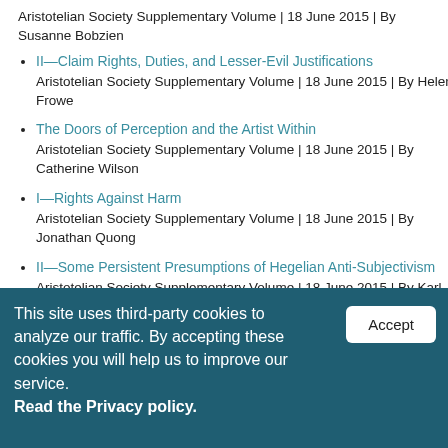Aristotelian Society Supplementary Volume | 18 June 2015 | By Susanne Bobzien
II—Claim Rights, Duties, and Lesser-Evil Justifications
Aristotelian Society Supplementary Volume | 18 June 2015 | By Helen Frowe
The Doors of Perception and the Artist Within
Aristotelian Society Supplementary Volume | 18 June 2015 | By Catherine Wilson
I—Rights Against Harm
Aristotelian Society Supplementary Volume | 18 June 2015 | By Jonathan Quong
II—Some Persistent Presumptions of Hegelian Anti-Subjectivism
Aristotelian Society Supplementary Volume | 18 June 2015 | By Karl
This site uses third-party cookies to analyze our traffic. By accepting these cookies you will help us to improve our service. Read the Privacy policy.